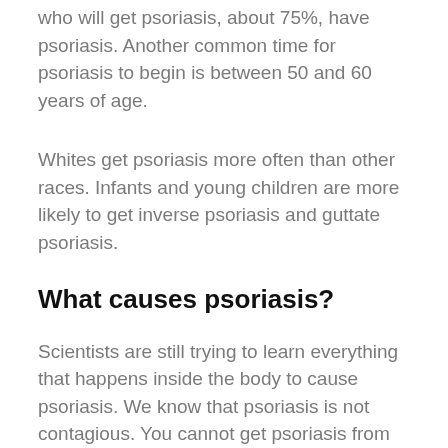who will get psoriasis, about 75%, have psoriasis. Another common time for psoriasis to begin is between 50 and 60 years of age.
Whites get psoriasis more often than other races. Infants and young children are more likely to get inverse psoriasis and guttate psoriasis.
What causes psoriasis?
Scientists are still trying to learn everything that happens inside the body to cause psoriasis. We know that psoriasis is not contagious. You cannot get psoriasis from touching someone